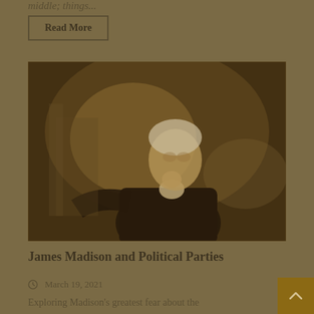middle; things...
Read More
[Figure (photo): A sepia-toned portrait painting of James Madison, a founding father, shown in an 18th-century style with period clothing against a dark background.]
James Madison and Political Parties
March 19, 2021
Exploring Madison's greatest fear about the